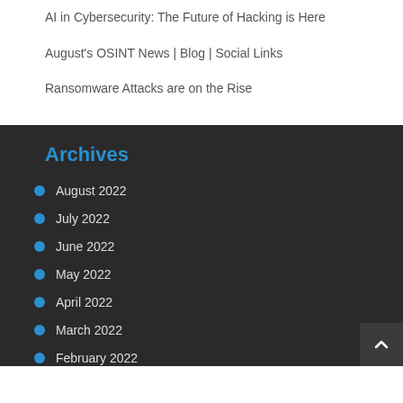AI in Cybersecurity: The Future of Hacking is Here
August's OSINT News | Blog | Social Links
Ransomware Attacks are on the Rise
Archives
August 2022
July 2022
June 2022
May 2022
April 2022
March 2022
February 2022